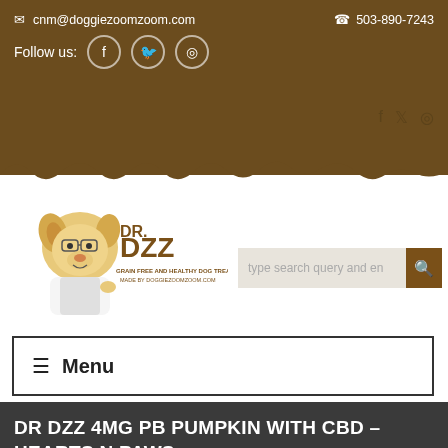cnm@doggiezoomzoom.com  503-890-7243  Follow us: [Facebook] [Twitter] [Instagram]
[Figure (logo): Dr. DZZ cartoon dog mascot logo with text 'DR. DZZ GRAIN FREE AND HEALTHY DOG TREATS MADE BY DOGGIEZOOMZOOM.COM']
type search query and enter
≡  Menu
DR DZZ 4MG PB PUMPKIN WITH CBD – HEARTS N PAWS
Home  cookies  Dr DZZ 4MG PB Pumpkin with CBD – Hearts N Paws